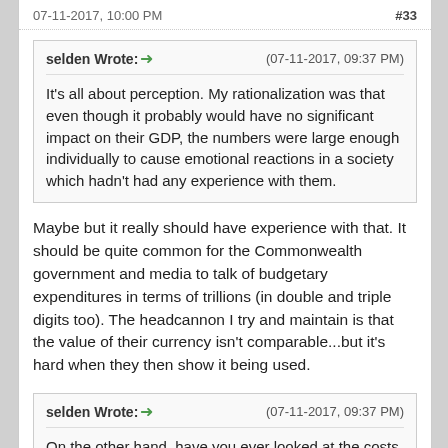07-11-2017, 10:00 PM   #33
selden Wrote:➜   (07-11-2017, 09:37 PM)
It's all about perception. My rationalization was that even though it probably would have no significant impact on their GDP, the numbers were large enough individually to cause emotional reactions in a society which hadn't had any experience with them.
Maybe but it really should have experience with that. It should be quite common for the Commonwealth government and media to talk of budgetary expenditures in terms of trillions (in double and triple digits too). The headcannon I try and maintain is that the value of their currency isn't comparable...but it's hard when they then show it being used.
selden Wrote:➜   (07-11-2017, 09:37 PM)
On the other hand, have you ever looked at the costs